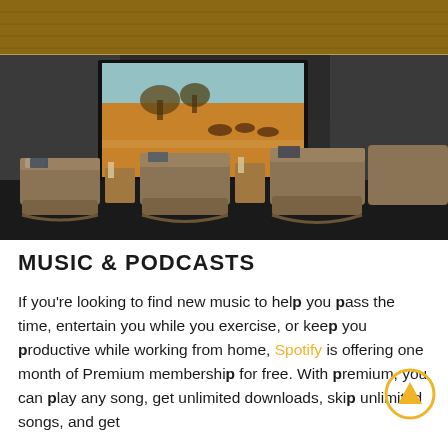[Figure (photo): Luxury cinema room with reclining lounge chairs/daybeds arranged in rows, wooden side tables with candles, large projection screen showing safari landscape, dark walls and wood-paneled ceiling with accent lighting.]
MUSIC & PODCASTS
If you're looking to find new music to help you pass the time, entertain you while you exercise, or keep you productive while working from home, Spotify is offering one month of Premium membership for free. With premium, you can play any song, get unlimited downloads, skip unlimited songs, and get